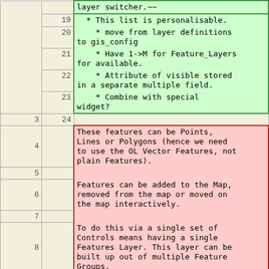|  | row | content |
| --- | --- | --- |
|  |  | layer switcher.~~ |
|  | 19 |   * This list is personalisable. |
|  | 20 |     * move from layer definitions
to gis_config |
|  | 21 |     * Have 1->M for Feature_Layers
for available. |
|  | 22 |     * Attribute of visible stored
in a separate multiple field. |
|  | 23 |     * Combine with special
widget? |
| 3 | 24 |  |
| 4 |  | These features can be Points,
Lines or Polygons (hence we need
to use the OL Vector Features, not
plain Features). |
| 5 |  |  |
| 6 |  | Features can be added to the Map,
removed from the map or moved on
the map interactively. |
| 7 |  |  |
| 8 |  | To do this via a single set of
Controls means having a single
Features Layer. This layer can be
built up out of multiple Feature
Groups. |